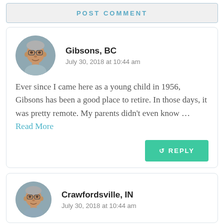POST COMMENT
Gibsons, BC
July 30, 2018 at 10:44 am
Ever since I came here as a young child in 1956, Gibsons has been a good place to retire. In those days, it was pretty remote. My parents didn't even know … Read More
REPLY
Crawfordsville, IN
July 30, 2018 at 10:44 am